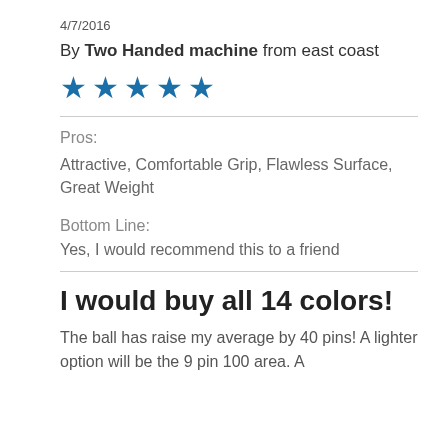4/7/2016
By Two Handed machine from east coast
[Figure (other): 5 blue star rating icons]
Pros:
Attractive, Comfortable Grip, Flawless Surface, Great Weight
Bottom Line:
Yes, I would recommend this to a friend
I would buy all 14 colors!
The ball has raise my average by 40 pins! A lighter option will be the 9 pin 100 area. A